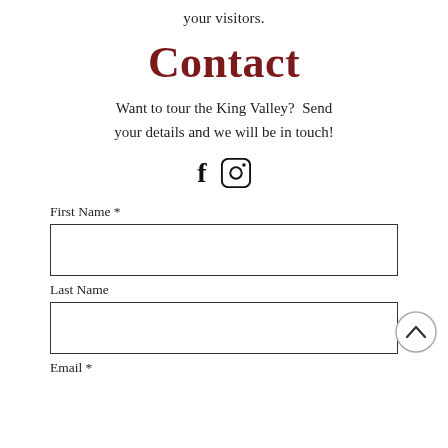your visitors.
Contact
Want to tour the King Valley?  Send your details and we will be in touch!
[Figure (illustration): Social media icons: Facebook (f) and Instagram (camera in rounded square)]
First Name *
[Figure (other): Empty text input field for First Name]
Last Name
[Figure (other): Empty text input field for Last Name, with a scroll-up button (chevron in circle) overlapping the right side]
Email *